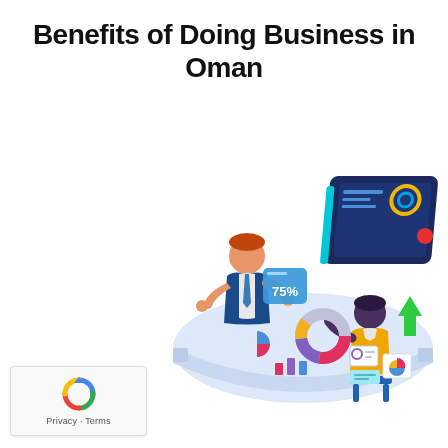Benefits of Doing Business in Oman
[Figure (illustration): Isometric illustration of two business professionals sitting at a table with charts, graphs, a donut chart, bar charts, and a large dark blue monitor/dashboard screen showing analytics. One person (male, wearing vest and tie) holds a blue card showing '75%'. The other person (female, wearing yellow) gestures toward charts on the table. A green upward arrow is visible near the monitor. The table has various data visualization elements including pie charts, bar graphs, and documents.]
[Figure (logo): Google reCAPTCHA badge with recycling-arrow logo icon and 'Privacy · Terms' text below.]